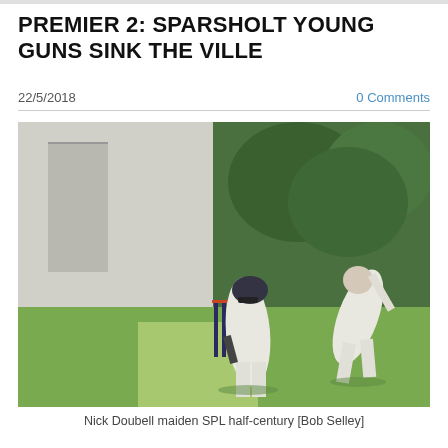PREMIER 2: SPARSHOLT YOUNG GUNS SINK THE VILLE
22/5/2018
0 Comments
[Figure (photo): Cricket match photo showing a batsman in defensive pose at the crease with stumps visible, and a bowler in follow-through action on the right, on a grass pitch with a white building and trees in the background.]
Nick Doubell maiden SPL half-century [Bob Selley]